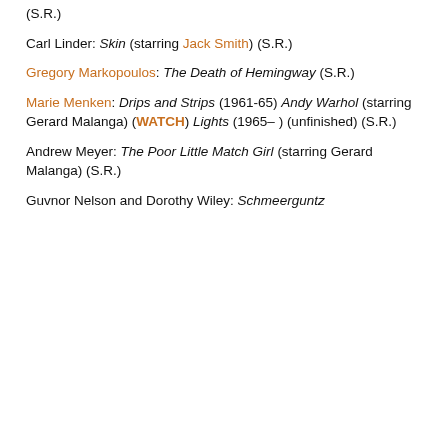(S.R.)
Carl Linder:
Skin (starring Jack Smith)
(S.R.)
Gregory Markopoulos:
The Death of Hemingway
(S.R.)
Marie Menken:
Drips and Strips (1961-65)
Andy Warhol (starring Gerard Malanga) (WATCH)
Lights (1965– ) (unfinished)
(S.R.)
Andrew Meyer:
The Poor Little Match Girl (starring Gerard Malanga) (S.R.)
Guvnor Nelson and Dorothy Wiley:
Schmeerguntz